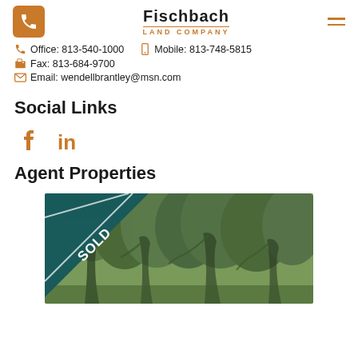Fischbach LAND COMPANY
Office: 813-540-1000   Mobile: 813-748-5815
Fax: 813-684-9700
Email: wendellbrantley@msn.com
Social Links
[Figure (other): Facebook and LinkedIn social media icons in orange]
Agent Properties
[Figure (photo): Aerial or ground-level photo of wooded property with a SOLD banner in the upper left corner]